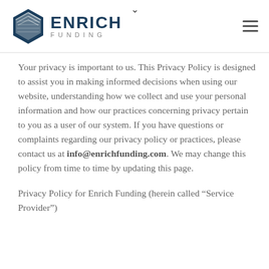Enrich Funding — logo and navigation
Your privacy is important to us. This Privacy Policy is designed to assist you in making informed decisions when using our website, understanding how we collect and use your personal information and how our practices concerning privacy pertain to you as a user of our system. If you have questions or complaints regarding our privacy policy or practices, please contact us at info@enrichfunding.com. We may change this policy from time to time by updating this page.
Privacy Policy for Enrich Funding (herein called “Service Provider”)